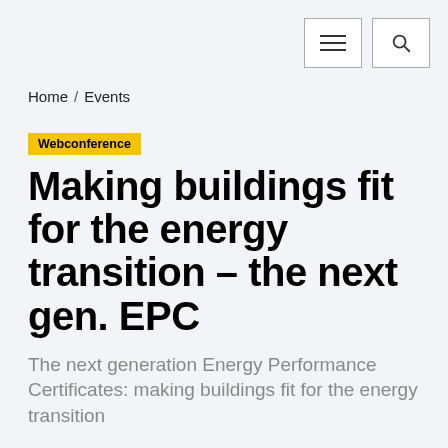[Navigation menu button] [Search button]
Home / Events
Webconference
Making buildings fit for the energy transition – the next gen. EPC
The next generation Energy Performance Certificates: making buildings fit for the energy transition